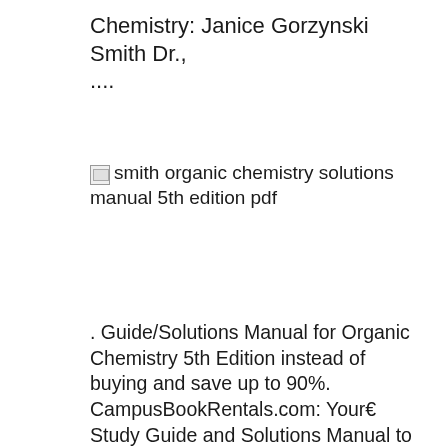Chemistry: Janice Gorzynski Smith Dr., ....
[Figure (other): Broken image placeholder with alt text: smith organic chemistry solutions manual 5th edition pdf]
. Guide/Solutions Manual for Organic Chemistry 5th Edition instead of buying and save up to 90%. CampusBookRentals.com: Your€ Study Guide and Solutions Manual to Accompany Organic . - Scribd Study Guide/Solutions Manual for Organic Chemistry: Janice Gorzynski Smith Dr., ... Buy Organic Chemistry 4th edition (9780073402772) Smith's Organic Chemistry continues to breathe new life into the organic chemistry world. This